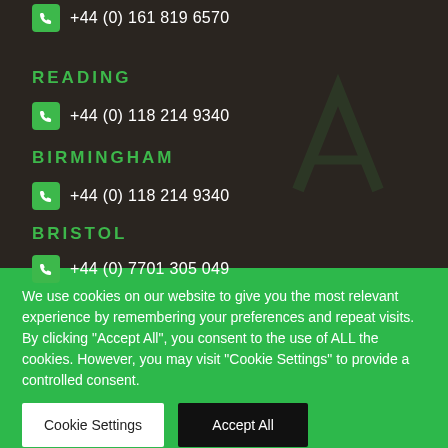+44 (0) 161 819 6570
READING
+44 (0) 118 214 9340
BIRMINGHAM
+44 (0) 118 214 9340
BRISTOL
+44 (0) 7701 305 049
We use cookies on our website to give you the most relevant experience by remembering your preferences and repeat visits. By clicking "Accept All", you consent to the use of ALL the cookies. However, you may visit "Cookie Settings" to provide a controlled consent.
Cookie Settings
Accept All